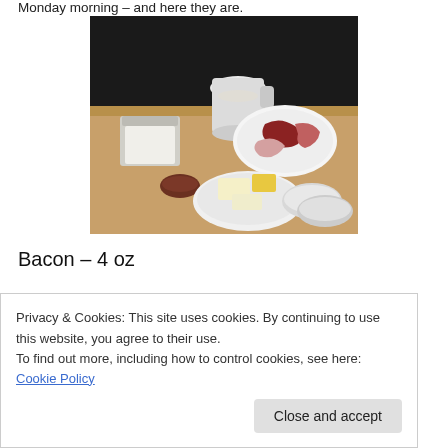Monday morning – and here they are.
[Figure (photo): Food ingredients on a wooden table: a container of white cream/cheese, a pitcher of milk, a plate with raw meat (beef and bacon), a small bowl of sauce, a plate with butter and cheese blocks, and empty round plastic containers.]
Bacon – 4 oz
M...
Privacy & Cookies: This site uses cookies. By continuing to use this website, you agree to their use.
To find out more, including how to control cookies, see here: Cookie Policy
Close and accept